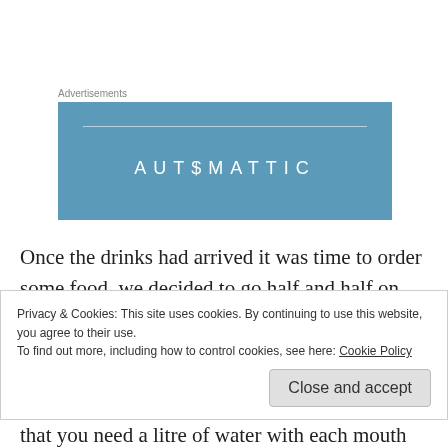Advertisements
[Figure (logo): Automattic advertisement banner — blue background with AUTOMATTIC text in white uppercase letters]
Once the drinks had arrived it was time to order some food, we decided to go half and half on the pizzas, Amy ordered the Feta and Butternut Squash Pizza, I went for the Meat Cured pizzas with pepperoni and Ham, which
Privacy & Cookies: This site uses cookies. By continuing to use this website, you agree to their use.
To find out more, including how to control cookies, see here: Cookie Policy
Close and accept
that you need a litre of water with each mouth full, then